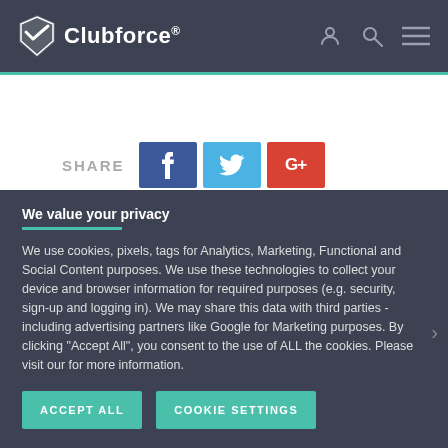Clubforce®
[Figure (logo): Clubforce logo with shield icon and text]
SHARE
We value your privacy
We use cookies, pixels, tags for Analytics, Marketing, Functional and Social Content purposes. We use these technologies to collect your device and browser information for required purposes (e.g. security, sign-up and logging in). We may share this data with third parties - including advertising partners like Google for Marketing purposes. By clicking "Accept All", you consent to the use of ALL the cookies. Please visit our for more information.
ACCEPT ALL
COOKIE SETTINGS